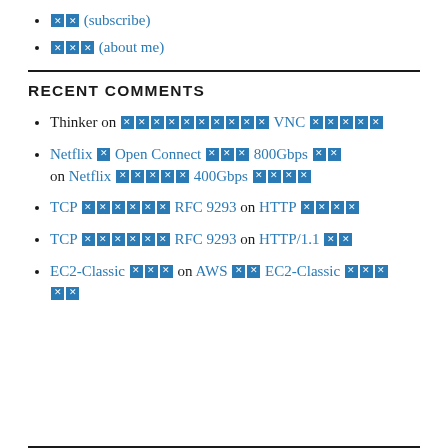▪▪ (subscribe)
▪▪▪ (about me)
RECENT COMMENTS
Thinker on ▪▪▪▪▪▪▪▪▪▪ VNC ▪▪▪▪▪
Netflix ▪ Open Connect ▪▪▪ 800Gbps ▪▪ on Netflix ▪▪▪▪▪ 400Gbps ▪▪▪▪
TCP ▪▪▪▪▪▪ RFC 9293 on HTTP ▪▪▪▪
TCP ▪▪▪▪▪▪ RFC 9293 on HTTP/1.1 ▪▪
EC2-Classic ▪▪▪ on AWS ▪▪ EC2-Classic ▪▪▪▪